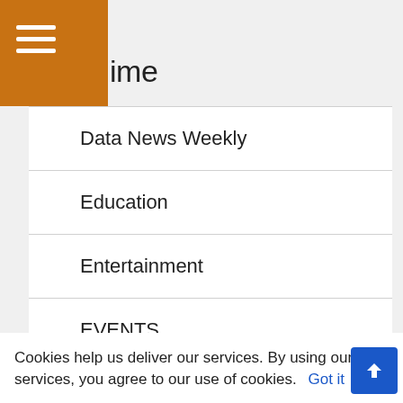ime
Data News Weekly
Education
Entertainment
EVENTS
Food
Food and Drinks
Guest Columnist
Cookies help us deliver our services. By using our services, you agree to our use of cookies. Got it